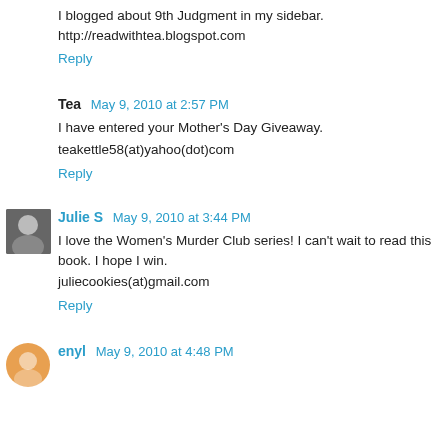I blogged about 9th Judgment in my sidebar. http://readwithtea.blogspot.com
Reply
Tea  May 9, 2010 at 2:57 PM
I have entered your Mother's Day Giveaway.
teakettle58(at)yahoo(dot)com
Reply
Julie S  May 9, 2010 at 3:44 PM
I love the Women's Murder Club series! I can't wait to read this book. I hope I win. juliecookies(at)gmail.com
Reply
enyl  May 9, 2010 at 4:48 PM